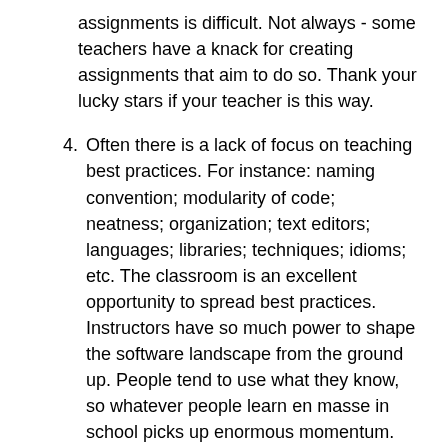assignments is difficult. Not always - some teachers have a knack for creating assignments that aim to do so. Thank your lucky stars if your teacher is this way.
4. Often there is a lack of focus on teaching best practices. For instance: naming convention; modularity of code; neatness; organization; text editors; languages; libraries; techniques; idioms; etc. The classroom is an excellent opportunity to spread best practices. Instructors have so much power to shape the software landscape from the ground up. People tend to use what they know, so whatever people learn en masse in school picks up enormous momentum. Equipped with best practices, coders will tend less to shove round pegs